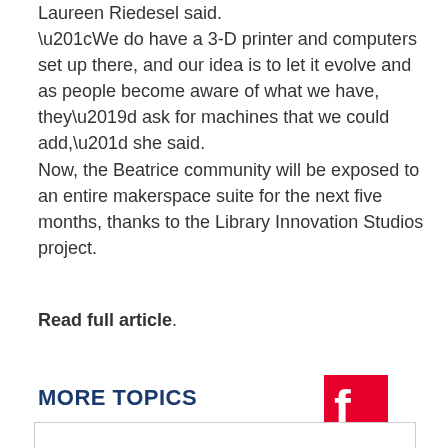Laureen Riedesel said.
“We do have a 3-D printer and computers set up there, and our idea is to let it evolve and as people become aware of what we have, they’d ask for machines that we could add,” she said.
Now, the Beatrice community will be exposed to an entire makerspace suite for the next five months, thanks to the Library Innovation Studios project.
Read full article.
[Figure (logo): Flipboard red square logo with white 'f' letter]
MORE TOPICS